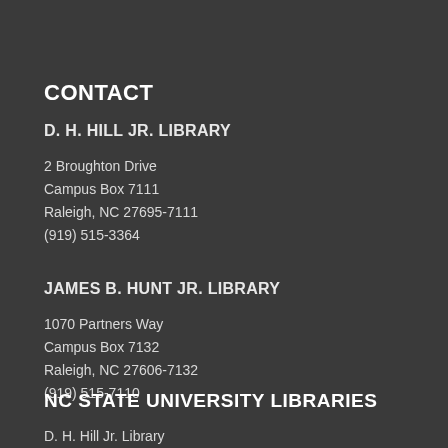CONTACT
D. H. HILL JR. LIBRARY
2 Broughton Drive
Campus Box 7111
Raleigh, NC 27695-7111
(919) 515-3364
JAMES B. HUNT JR. LIBRARY
1070 Partners Way
Campus Box 7132
Raleigh, NC 27606-7132
(919) 515-7110
NC STATE UNIVERSITY LIBRARIES
D. H. Hill Jr. Library